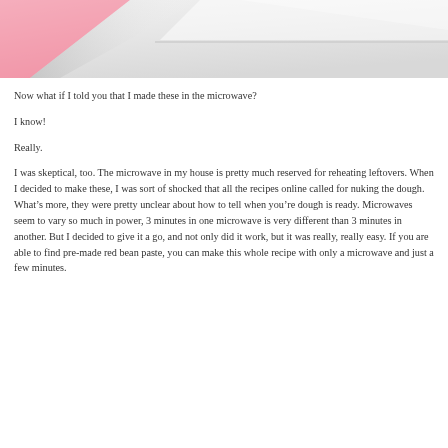[Figure (photo): Close-up photo of a white ceramic dish or plate on a pink/red background, photographed from above at an angle.]
Now what if I told you that I made these in the microwave?
I know!
Really.
I was skeptical, too. The microwave in my house is pretty much reserved for reheating leftovers. When I decided to make these, I was sort of shocked that all the recipes online called for nuking the dough. What’s more, they were pretty unclear about how to tell when you’re dough is ready. Microwaves seem to vary so much in power, 3 minutes in one microwave is very different than 3 minutes in another. But I decided to give it a go, and not only did it work, but it was really, really easy. If you are able to find pre-made red bean paste, you can make this whole recipe with only a microwave and just a few minutes.